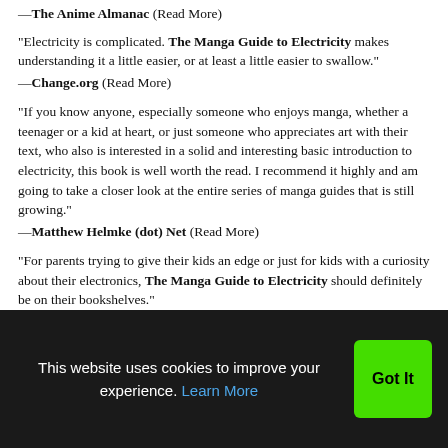—The Anime Almanac (Read More)
"Electricity is complicated. The Manga Guide to Electricity makes understanding it a little easier, or at least a little easier to swallow."
—Change.org (Read More)
"If you know anyone, especially someone who enjoys manga, whether a teenager or a kid at heart, or just someone who appreciates art with their text, who also is interested in a solid and interesting basic introduction to electricity, this book is well worth the read. I recommend it highly and am going to take a closer look at the entire series of manga guides that is still growing."
—Matthew Helmke (dot) Net (Read More)
"For parents trying to give their kids an edge or just for kids with a curiosity about their electronics, The Manga Guide to Electricity should definitely be on their bookshelves."
—Sacramento Book Review (Read More)
"The author succeeds in presenting a clear, easy-to-understand guide to electricity. This valuable book serves as an excellent introduction to
This website uses cookies to improve your experience. Learn More
Got It